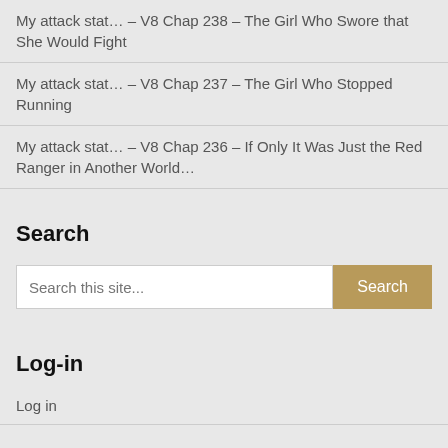My attack stat… – V8 Chap 238 – The Girl Who Swore that She Would Fight
My attack stat… – V8 Chap 237 – The Girl Who Stopped Running
My attack stat… – V8 Chap 236 – If Only It Was Just the Red Ranger in Another World…
Search
[Figure (other): Search form with text input placeholder 'Search this site...' and a tan/gold Search button]
Log-in
Log in